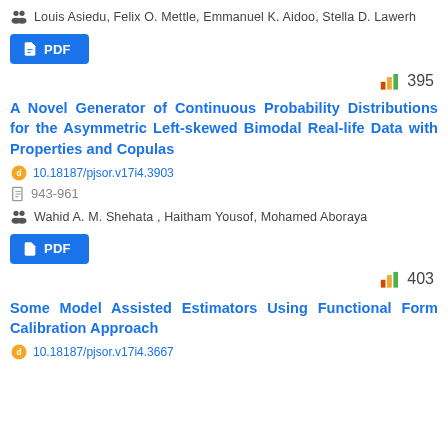Louis Asiedu, Felix O. Mettle, Emmanuel K. Aidoo, Stella D. Lawerh
PDF
395
A Novel Generator of Continuous Probability Distributions for the Asymmetric Left-skewed Bimodal Real-life Data with Properties and Copulas
10.18187/pjsor.v17i4.3903
943-961
Wahid A. M. Shehata , Haitham Yousof, Mohamed Aboraya
PDF
403
Some Model Assisted Estimators Using Functional Form Calibration Approach
10.18187/pjsor.v17i4.3667